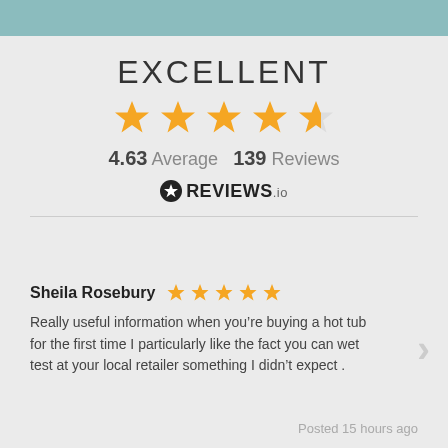[Figure (other): Teal/blue watercolor decorative header bar]
EXCELLENT
[Figure (other): 5 large orange stars (4 full, 1 partial) rating display]
4.63 Average   139 Reviews
[Figure (logo): REVIEWS.io logo with star icon]
Sheila Rosebury ★★★★★
Really useful information when you're buying a hot tub for the first time I particularly like the fact you can wet test at your local retailer something I didn't expect .
Posted 15 hours ago